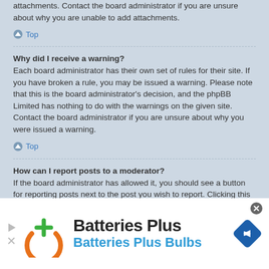attachments. Contact the board administrator if you are unsure about why you are unable to add attachments.
Top
Why did I receive a warning?
Each board administrator has their own set of rules for their site. If you have broken a rule, you may be issued a warning. Please note that this is the board administrator's decision, and the phpBB Limited has nothing to do with the warnings on the given site. Contact the board administrator if you are unsure about why you were issued a warning.
Top
How can I report posts to a moderator?
If the board administrator has allowed it, you should see a button for reporting posts next to the post you wish to report. Clicking this will walk you through the steps necessary to report the post.
Top
[Figure (infographic): Advertisement banner for Batteries Plus / Batteries Plus Bulbs with logo, navigation icon, close button, and play/close icons on left.]